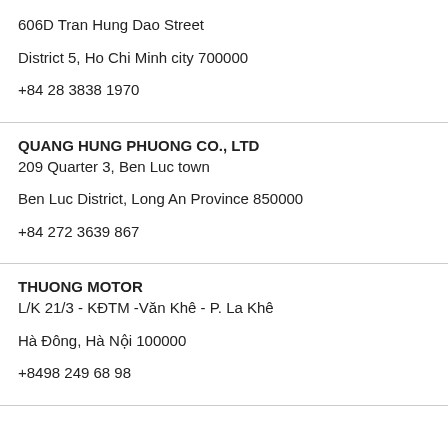606D Tran Hung Dao Street
District 5, Ho Chi Minh city 700000
+84 28 3838 1970
QUANG HUNG PHUONG CO., LTD
209 Quarter 3, Ben Luc town
Ben Luc District, Long An Province 850000
+84 272 3639 867
THUONG MOTOR
L/K 21/3 - KĐTM -Văn Khê - P. La Khê
Hà Đông, Hà Nội 100000
+8498 249 68 98